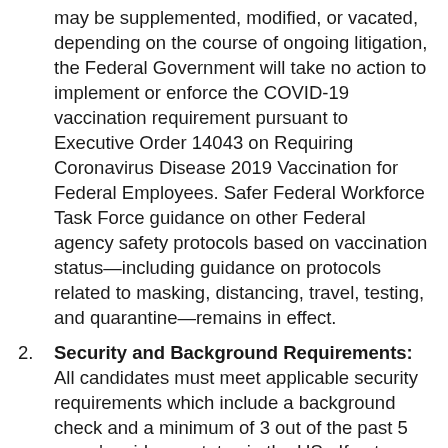may be supplemented, modified, or vacated, depending on the course of ongoing litigation, the Federal Government will take no action to implement or enforce the COVID-19 vaccination requirement pursuant to Executive Order 14043 on Requiring Coronavirus Disease 2019 Vaccination for Federal Employees. Safer Federal Workforce Task Force guidance on other Federal agency safety protocols based on vaccination status—including guidance on protocols related to masking, distancing, travel, testing, and quarantine—remains in effect.
Security and Background Requirements: All candidates must meet applicable security requirements which include a background check and a minimum of 3 out of the past 5 years' residency status in the US. If not previously completed, a background security investigation will be required for all appointees. Appointment will be subject to the applicant's successful completion of a background